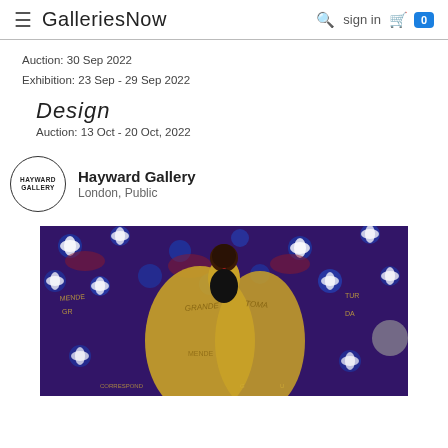GalleriesNow  sign in  0
Auction: 30 Sep 2022
Exhibition: 23 Sep - 29 Sep 2022
Design
Auction: 13 Oct - 20 Oct, 2022
Hayward Gallery
London, Public
[Figure (photo): Artwork showing a figure with a black face wearing golden garments with text and floral patterned background in blue, red, and white]